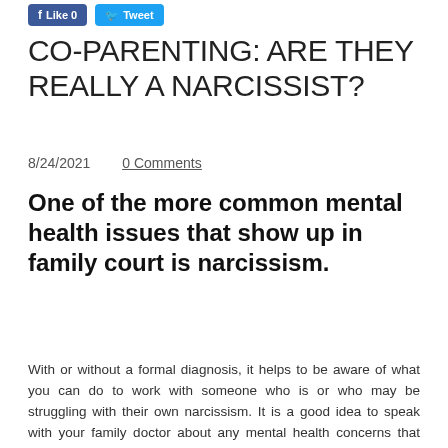[Figure (other): Social media buttons: blue Facebook Like button and blue Twitter Tweet button]
CO-PARENTING: ARE THEY REALLY A NARCISSIST?
8/24/2021    0 Comments
One of the more common mental health issues that show up in family court is narcissism.
With or without a formal diagnosis, it helps to be aware of what you can do to work with someone who is or who may be struggling with their own narcissism. It is a good idea to speak with your family doctor about any mental health concerns that you have related to yourself or another parent.